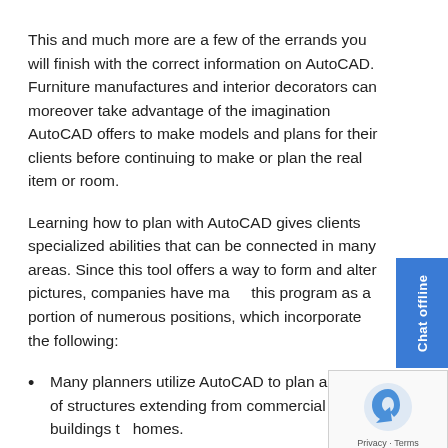This and much more are a few of the errands you will finish with the correct information on AutoCAD. Furniture manufactures and interior decorators can moreover take advantage of the imagination AutoCAD offers to make models and plans for their clients before continuing to make or plan the real item or room.
Learning how to plan with AutoCAD gives clients specialized abilities that can be connected in many areas. Since this tool offers a way to form and alter pictures, companies have made this program as a portion of numerous positions, which incorporate the following:
Many planners utilize AutoCAD to plan a variety of structures extending from commercial buildings to homes.
A huge number of drafters depend on AutoCAD to form